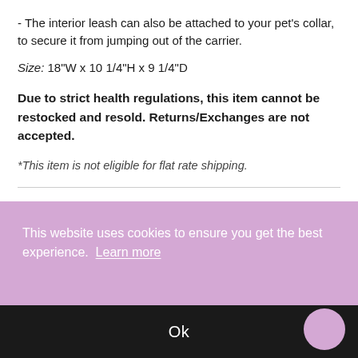- The interior leash can also be attached to your pet's collar, to secure it from jumping out of the carrier.
Size: 18"W x 10 1/4"H x 9 1/4"D
Due to strict health regulations, this item cannot be restocked and resold. Returns/Exchanges are not accepted.
*This item is not eligible for flat rate shipping.
Customers who bought this item also
This website uses cookies to ensure you get the best experience.  Learn more
Ok